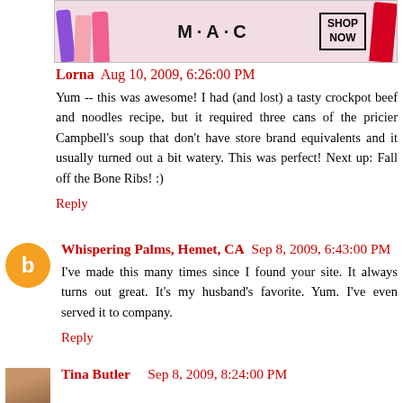[Figure (other): MAC Cosmetics advertisement banner showing colorful lipsticks (purple, pink, hot pink) on the left, MAC logo in center, SHOP NOW box, and red lipstick on right]
Lorna  Aug 10, 2009, 6:26:00 PM
Yum -- this was awesome! I had (and lost) a tasty crockpot beef and noodles recipe, but it required three cans of the pricier Campbell's soup that don't have store brand equivalents and it usually turned out a bit watery. This was perfect! Next up: Fall off the Bone Ribs! :)
Reply
Whispering Palms, Hemet, CA  Sep 8, 2009, 6:43:00 PM
I've made this many times since I found your site. It always turns out great. It's my husband's favorite. Yum. I've even served it to company.
Reply
Tina Butler  Sep 8, 2009, 8:24:00 PM